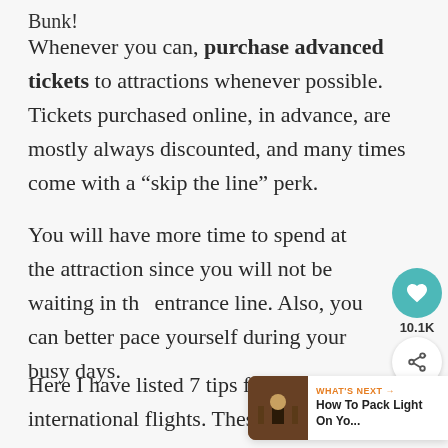Bunk!
Whenever you can, purchase advanced tickets to attractions whenever possible. Tickets purchased online, in advance, are mostly always discounted, and many times come with a “skip the line” perk.
You will have more time to spend at the attraction since you will not be waiting in the entrance line. Also, you can better pace yourself during your busy days.
Here I have listed 7 tips for surviving international flights. These tips are what